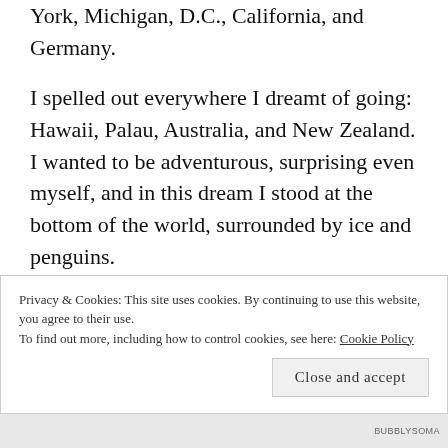York, Michigan, D.C., California, and Germany.
I spelled out everywhere I dreamt of going: Hawaii, Palau, Australia, and New Zealand. I wanted to be adventurous, surprising even myself, and in this dream I stood at the bottom of the world, surrounded by ice and penguins.
I didn't truly believe I'd have the
Privacy & Cookies: This site uses cookies. By continuing to use this website, you agree to their use.
To find out more, including how to control cookies, see here: Cookie Policy
Close and accept